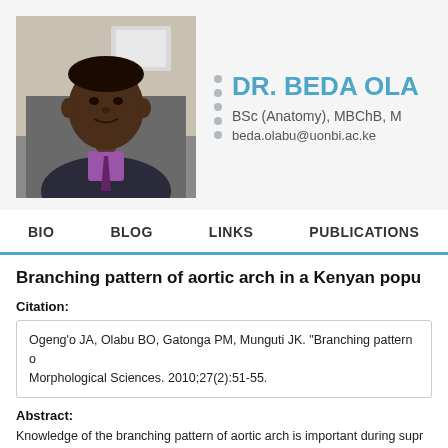[Figure (photo): Profile photo of Dr. Beda Olabu, a man in a dark jacket and purple shirt/tie seated in an office setting]
DR. BEDA OLA...
BSc (Anatomy), MBChB, M...
beda.olabu@uonbi.ac.ke
BIO   BLOG   LINKS   PUBLICATIONS
Branching pattern of aortic arch in a Kenyan popu...
Citation:
Ogeng'o JA, Olabu BO, Gatonga PM, Munguti JK. "Branching pattern o... Morphological Sciences. 2010;27(2):51-55.
Abstract:
Knowledge of the branching pattern of aortic arch is important during supr... thoracic and neck surgery. Variant patterns are often associated with cong... branching pattern shows population variation but there are no data for...